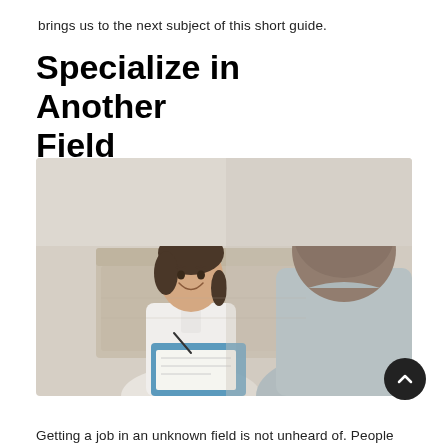brings us to the next subject of this short guide.
Specialize in Another Field
[Figure (photo): A smiling young woman in a white blouse holding a clipboard with papers, sitting across from a person in a light blue shirt in an office/counseling setting.]
Getting a job in an unknown field is not unheard of. People